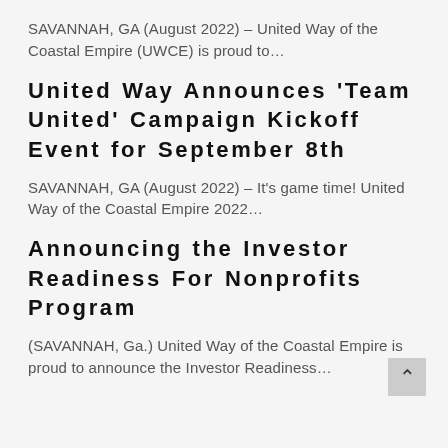SAVANNAH, GA (August 2022) – United Way of the Coastal Empire (UWCE) is proud to…
United Way Announces 'Team United' Campaign Kickoff Event for September 8th
SAVANNAH, GA (August 2022) – It's game time! United Way of the Coastal Empire 2022…
Announcing the Investor Readiness For Nonprofits Program
(SAVANNAH, Ga.) United Way of the Coastal Empire is proud to announce the Investor Readiness…